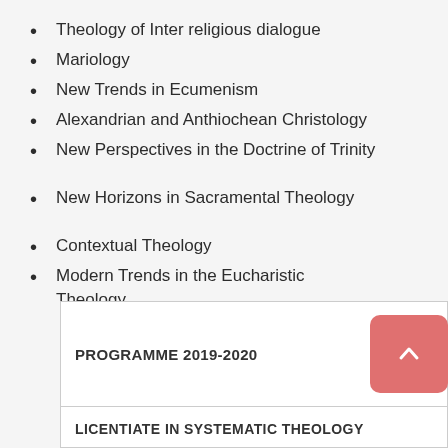Theology of Inter religious dialogue
Mariology
New Trends in Ecumenism
Alexandrian and Anthiochean Christology
New Perspectives in the Doctrine of Trinity
New Horizons in Sacramental Theology
Contextual Theology
Modern Trends in the Eucharistic Theology
PROGRAMME 2019-2020
LICENTIATE IN SYSTEMATIC THEOLOGY